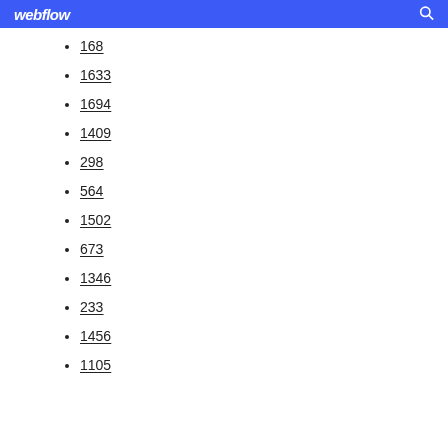webflow
168
1633
1694
1409
298
564
1502
673
1346
233
1456
1105